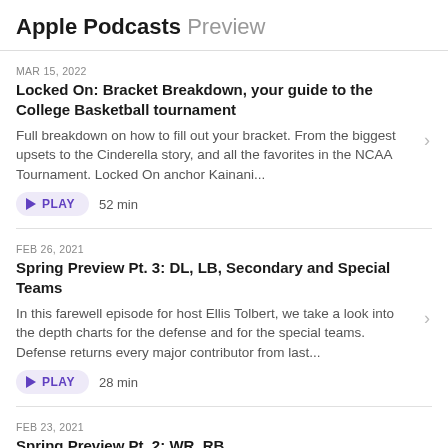Apple Podcasts Preview
MAR 15, 2022
Locked On: Bracket Breakdown, your guide to the College Basketball tournament
Full breakdown on how to fill out your bracket. From the biggest upsets to the Cinderella story, and all the favorites in the NCAA Tournament. Locked On anchor Kainani...
PLAY  52 min
FEB 26, 2021
Spring Preview Pt. 3: DL, LB, Secondary and Special Teams
In this farewell episode for host Ellis Tolbert, we take a look into the depth charts for the defense and for the special teams. Defense returns every major contributor from last...
PLAY  28 min
FEB 23, 2021
Spring Preview Pt. 2: WR, RB
Part 2 of the Spring Preview series. Wide Receivers and...